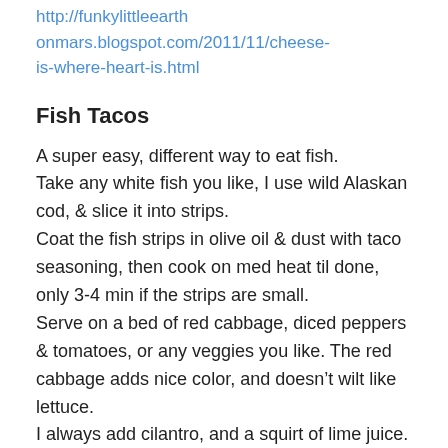http://funkylittleearthonmars.blogspot.com/2011/11/cheese-is-where-heart-is.html
Fish Tacos
A super easy, different way to eat fish.
Take any white fish you like, I use wild Alaskan cod, & slice it into strips.
Coat the fish strips in olive oil & dust with taco seasoning, then cook on med heat til done, only 3-4 min if the strips are small.
Serve on a bed of red cabbage, diced peppers & tomatoes, or any veggies you like. The red cabbage adds nice color, and doesn’t wilt like lettuce.
I always add cilantro, and a squirt of lime juice.
Serve on a warm corn tortilla, or flour if you prefer. Soooo easy, and delicious!!
Fish taco sauce: